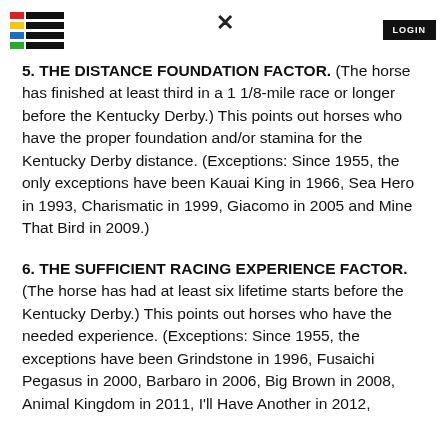LOGIN
5. THE DISTANCE FOUNDATION FACTOR. (The horse has finished at least third in a 1 1/8-mile race or longer before the Kentucky Derby.) This points out horses who have the proper foundation and/or stamina for the Kentucky Derby distance. (Exceptions: Since 1955, the only exceptions have been Kauai King in 1966, Sea Hero in 1993, Charismatic in 1999, Giacomo in 2005 and Mine That Bird in 2009.)
6. THE SUFFICIENT RACING EXPERIENCE FACTOR. (The horse has had at least six lifetime starts before the Kentucky Derby.) This points out horses who have the needed experience. (Exceptions: Since 1955, the exceptions have been Grindstone in 1996, Fusaichi Pegasus in 2000, Barbaro in 2006, Big Brown in 2008, Animal Kingdom in 2011, I'll Have Another in 2012,